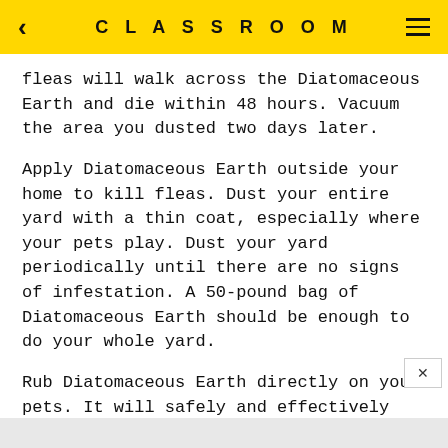CLASSROOM
fleas will walk across the Diatomaceous Earth and die within 48 hours. Vacuum the area you dusted two days later.
Apply Diatomaceous Earth outside your home to kill fleas. Dust your entire yard with a thin coat, especially where your pets play. Dust your yard periodically until there are no signs of infestation. A 50-pound bag of Diatomaceous Earth should be enough to do your whole yard.
Rub Diatomaceous Earth directly on your pets. It will safely and effectively kill fleas, ticks, lice and red mites. Reapply as often